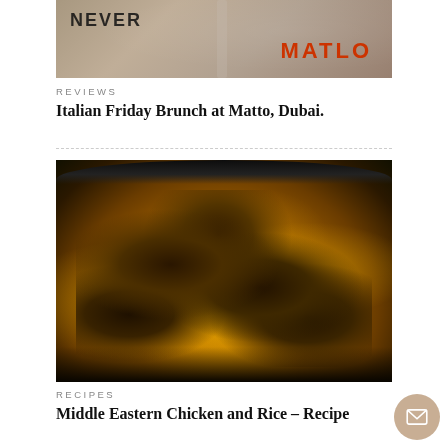[Figure (photo): Photo of Matto restaurant branding/sign with graffiti-style text reading NEVER and MATLO in orange letters on a distressed wall background]
REVIEWS
Italian Friday Brunch at Matto, Dubai.
[Figure (photo): Close-up photo of a large dark pan filled with Middle Eastern chicken and yellow saffron rice (biryani style), with roasted chicken pieces resting on top of the golden rice]
RECIPES
Middle Eastern Chicken and Rice – Recipe